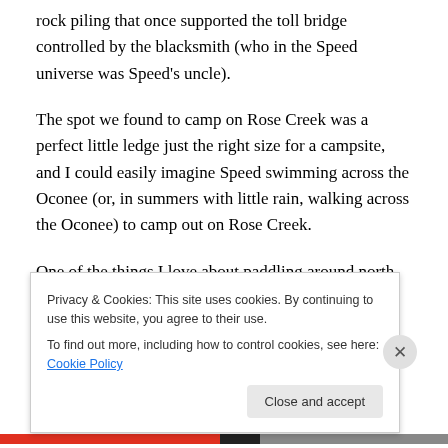rock piling that once supported the toll bridge controlled by the blacksmith (who in the Speed universe was Speed's uncle).
The spot we found to camp on Rose Creek was a perfect little ledge just the right size for a campsite, and I could easily imagine Speed swimming across the Oconee (or, in summers with little rain, walking across the Oconee) to camp out on Rose Creek.
One of the things I love about paddling around north Georgia is the history I get to see. On the North and
Privacy & Cookies: This site uses cookies. By continuing to use this website, you agree to their use.
To find out more, including how to control cookies, see here: Cookie Policy